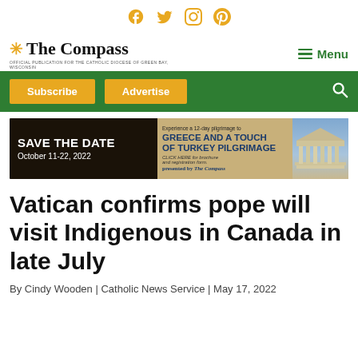Social media icons: Facebook, Twitter, Instagram, Pinterest
[Figure (logo): The Compass newspaper logo with starburst icon and subtitle: Official Publication for the Catholic Diocese of Green Bay, Wisconsin]
Menu
Subscribe | Advertise
[Figure (infographic): Advertisement banner: SAVE THE DATE October 11-22, 2022 — Experience a 12-day pilgrimage to GREECE AND A TOUCH OF TURKEY PILGRIMAGE. CLICK HERE for brochure and registration form. Presented by The Compass. Image of Greek ruins (Parthenon).]
Vatican confirms pope will visit Indigenous in Canada in late July
By Cindy Wooden | Catholic News Service | May 17, 2022